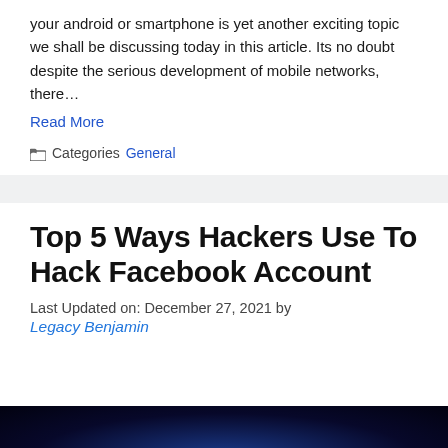your android or smartphone is yet another exciting topic we shall be discussing today in this article. Its no doubt despite the serious development of mobile networks, there…
Read More
Categories General
Top 5 Ways Hackers Use To Hack Facebook Account
Last Updated on: December 27, 2021 by Legacy Benjamin
[Figure (photo): Dark blue glowing image thumbnail at the bottom of the page, partial view]